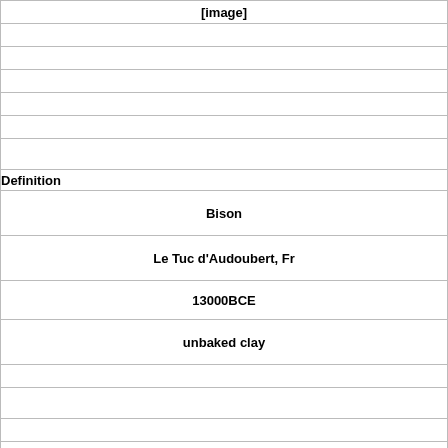[image]
Definition
Bison
Le Tuc d'Audoubert, Fr
13000BCE
unbaked clay
Term